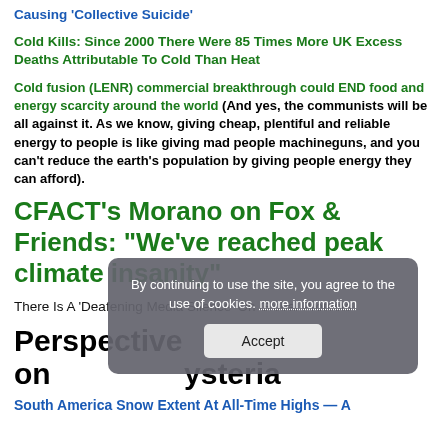Causing 'Collective Suicide'
Cold Kills: Since 2000 There Were 85 Times More UK Excess Deaths Attributable To Cold Than Heat
Cold fusion (LENR) commercial breakthrough could END food and energy scarcity around the world (And yes, the communists will be all against it. As we know, giving cheap, plentiful and reliable energy to people is like giving mad people machineguns, and you can't reduce the earth's population by giving people energy they can afford).
CFACT's Morano on Fox & Friends: “We’ve reached peak climate insanity”
There Is A ‘Deafening Media Silence’ On Global Protests
Perspective on ... ysteria
South America Snow Extent At All-Time Highs — A